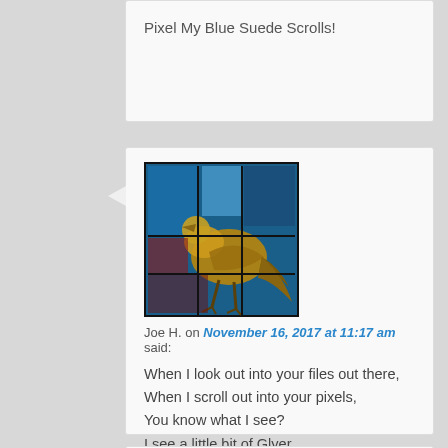Pixel My Blue Suede Scrolls!
[Figure (photo): Stained glass artwork showing a bird/animal figure in blue, red, gold, and dark tones]
Joe H. on November 16, 2017 at 11:17 am said:
When I look out into your files out there,
When I scroll out into your pixels,
You know what I see?
I see a little bit of Glyer
In each and every one of you out there.
[Figure (photo): Black and white photo of a person with light hair, arms crossed or raised]